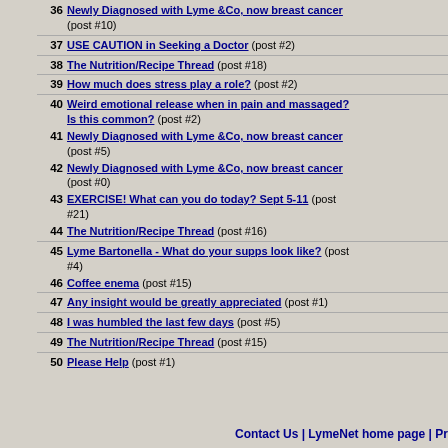36 Newly Diagnosed with Lyme &Co, now breast cancer (post #10)
37 USE CAUTION in Seeking a Doctor (post #2)
38 The Nutrition/Recipe Thread (post #18)
39 How much does stress play a role? (post #2)
40 Weird emotional release when in pain and massaged? Is this common? (post #2)
41 Newly Diagnosed with Lyme &Co, now breast cancer (post #5)
42 Newly Diagnosed with Lyme &Co, now breast cancer (post #0)
43 EXERCISE! What can you do today? Sept 5-11 (post #21)
44 The Nutrition/Recipe Thread (post #16)
45 Lyme Bartonella - What do your supps look like? (post #4)
46 Coffee enema (post #15)
47 Any insight would be greatly appreciated (post #1)
48 I was humbled the last few days (post #5)
49 The Nutrition/Recipe Thread (post #15)
50 Please Help (post #1)
Contact Us | LymeNet home page | Pr